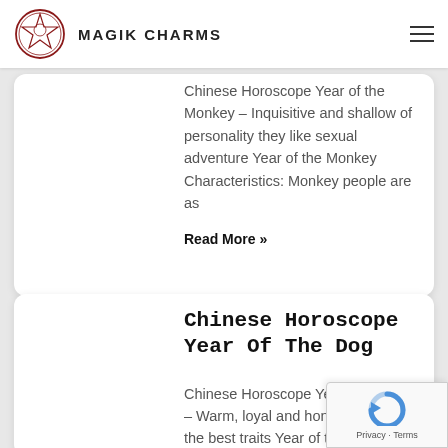MAGIK CHARMS
Chinese Horoscope Year of the Monkey – Inquisitive and shallow of personality they like sexual adventure Year of the Monkey Characteristics: Monkey people are as
Read More »
Chinese Horoscope Year Of The Dog
Chinese Horoscope Year of the Dog – Warm, loyal and honest and all the best traits Year of the Dog Characteristics: Same as a Dog
Read More »